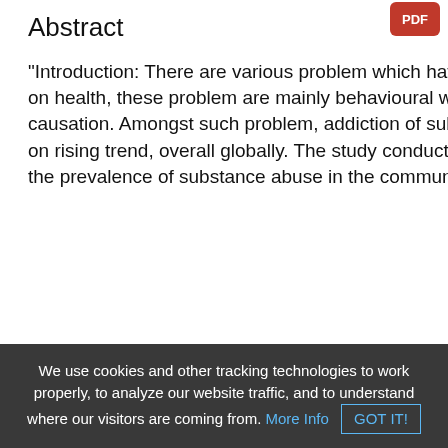Abstract
"Introduction: There are various problem which have harmful impact on health, these problem are mainly behavioural with multifunc-tional causation. Amongst such problem, addiction of substance abuse is on rising trend, overall globally. The study conducted to determine the prevalence of substance abuse in the community.
[Figure (illustration): Review Center logo/panel with teal and yellow human figures standing on stacked book/lines graphic, pencil icon, on light blue rounded rectangle background. Text reads 'Review Cent' (partially visible).]
We use cookies and other tracking technologies to work properly, to analyze our website traffic, and to understand where our visitors are coming from. More Info  GOT IT!